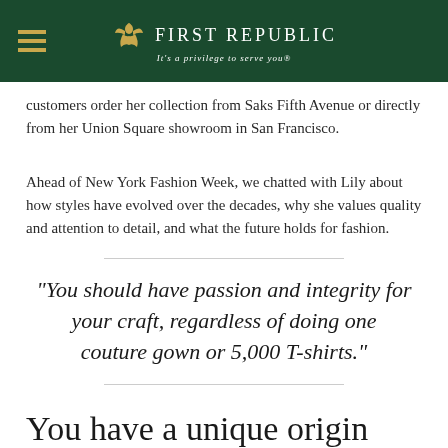First Republic — It's a privilege to serve you®
customers order her collection from Saks Fifth Avenue or directly from her Union Square showroom in San Francisco.
Ahead of New York Fashion Week, we chatted with Lily about how styles have evolved over the decades, why she values quality and attention to detail, and what the future holds for fashion.
“You should have passion and integrity for your craft, regardless of doing one couture gown or 5,000 T-shirts.”
You have a unique origin story. Can you